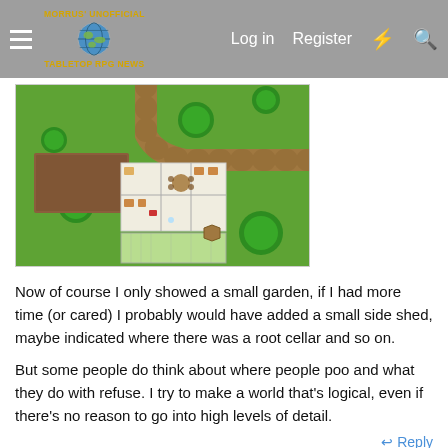Morrus' Unofficial Tabletop RPG News — Log in  Register
[Figure (screenshot): Top-down RPG map showing a building with rooms, a garden area, a path/road, and green trees on a green background.]
Now of course I only showed a small garden, if I had more time (or cared) I probably would have added a small side shed, maybe indicated where there was a root cellar and so on.
But some people do think about where people poo and what they do with refuse. I try to make a world that's logical, even if there's no reason to go into high levels of detail.
↩ Reply